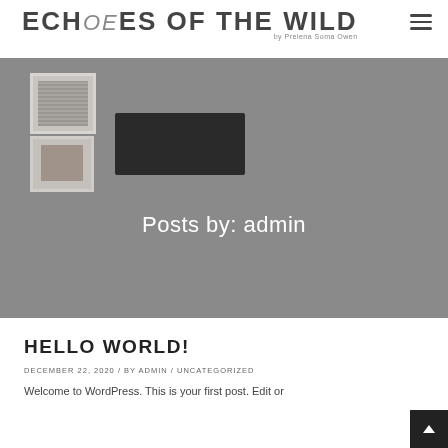ECHOES OF THE WILD by Prelena Soma Owen
[Figure (photo): Hero banner image showing a styled room interior with framed wall art and a dark flat-screen display on a shelf, with a grey overlay]
Posts by: admin
HELLO WORLD!
DECEMBER 22, 2020 / BY ADMIN / UNCATEGORIZED
Welcome to WordPress. This is your first post. Edit or